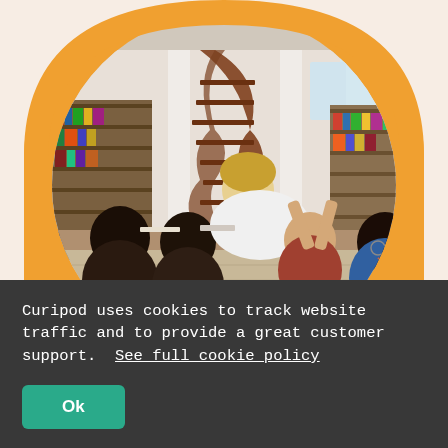[Figure (photo): A teacher with blonde hair leans over a table helping a group of diverse students in a bright library with bookshelves and a spiral staircase in the background. The image is displayed inside a circular mask with an orange arch/frame behind it, set against a light peach background.]
Curipod uses cookies to track website traffic and to provide a great customer support.  See full cookie policy
Ok